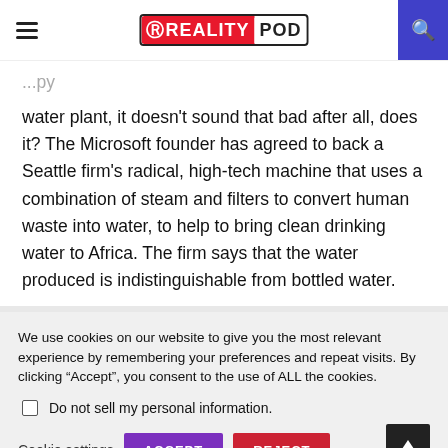RealityPod
water plant, it doesn't sound that bad after all, does it? The Microsoft founder has agreed to back a Seattle firm's radical, high-tech machine that uses a combination of steam and filters to convert human waste into water, to help to bring clean drinking water to Africa. The firm says that the water produced is indistinguishable from bottled water.
We use cookies on our website to give you the most relevant experience by remembering your preferences and repeat visits. By clicking “Accept”, you consent to the use of ALL the cookies.
Do not sell my personal information.
Cookie settings  ACCEPT  REJECT